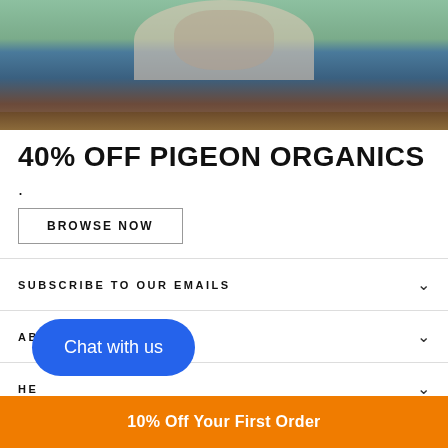[Figure (photo): Person sitting in front of a wooden background wearing blue clothing and patterned top, green wall behind]
40% OFF PIGEON ORGANICS
.
BROWSE NOW
SUBSCRIBE TO OUR EMAILS
ABOUT US
HE
Chat with us
10% Off Your First Order